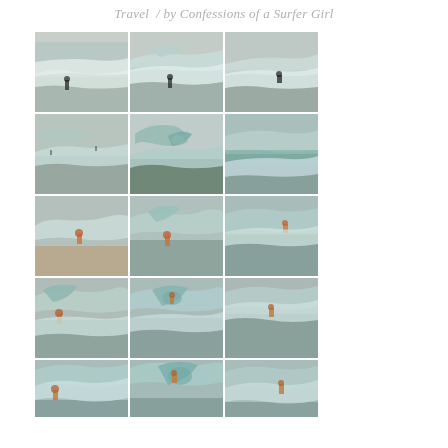Travel / by Confessions of a Surfer Girl
[Figure (photo): A 5x3 grid of 15 surf photography images showing ocean waves and surfers in action. The photos appear to be sequential frames or different captures of surfers riding large breaking waves at a beach. The images have a muted, slightly overcast color palette with turquoise-green water and white foam. Multiple rows show: top row - distant surfer on wave; second row - curling wave close-up, hollow wave, teal water; third row - wide beach shot, surfer on breaking wave, surfer inside wave; fourth row - surfer carving wave, surfer in barrel, surfer in whitewater; fifth row (partial) - surfer riding wave, wave barrel, wave with surfer.]